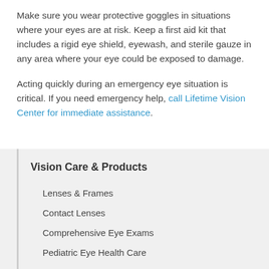Make sure you wear protective goggles in situations where your eyes are at risk. Keep a first aid kit that includes a rigid eye shield, eyewash, and sterile gauze in any area where your eye could be exposed to damage.
Acting quickly during an emergency eye situation is critical. If you need emergency help, call Lifetime Vision Center for immediate assistance.
Vision Care & Products
Lenses & Frames
Contact Lenses
Comprehensive Eye Exams
Pediatric Eye Health Care
Emergency Eye Exams